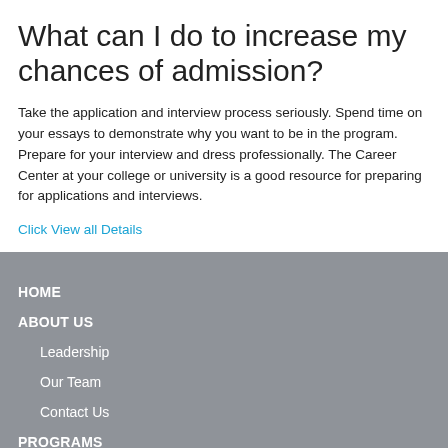What can I do to increase my chances of admission?
Take the application and interview process seriously. Spend time on your essays to demonstrate why you want to be in the program. Prepare for your interview and dress professionally. The Career Center at your college or university is a good resource for preparing for applications and interviews.
Click View all Details
HOME
ABOUT US
Leadership
Our Team
Contact Us
PROGRAMS